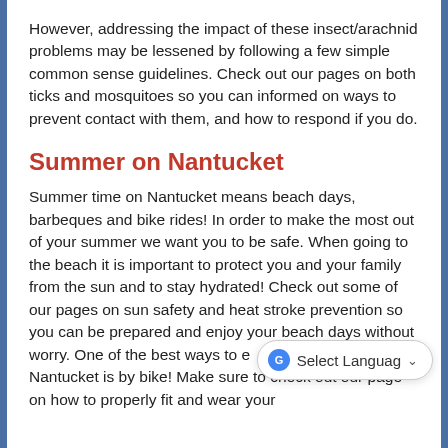However, addressing the impact of these insect/arachnid problems may be lessened by following a few simple common sense guidelines. Check out our pages on both ticks and mosquitoes so you can informed on ways to prevent contact with them, and how to respond if you do.
Summer on Nantucket
Summer time on Nantucket means beach days, barbeques and bike rides! In order to make the most out of your summer we want you to be safe. When going to the beach it is important to protect you and your family from the sun and to stay hydrated! Check out some of our pages on sun safety and heat stroke prevention so you can be prepared and enjoy your beach days without worry. One of the best ways to experience the beauty of Nantucket is by bike! Make sure to check out our page on how to properly fit and wear your